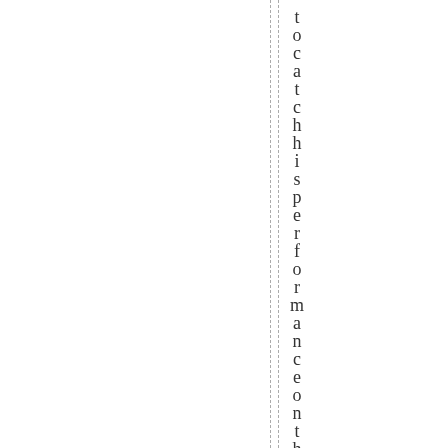to catch his performance on th